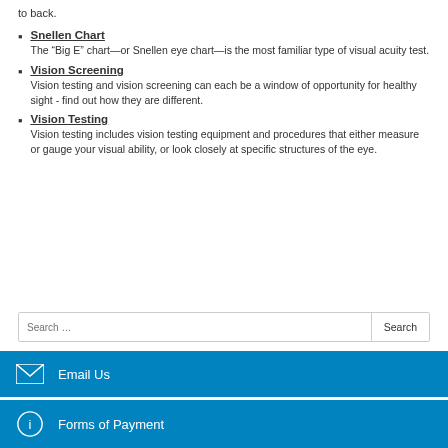to back.
Snellen Chart
The “Big E” chart—or Snellen eye chart—is the most familiar type of visual acuity test.
Vision Screening
Vision testing and vision screening can each be a window of opportunity for healthy sight - find out how they are different.
Vision Testing
Vision testing includes vision testing equipment and procedures that either measure or gauge your visual ability, or look closely at specific structures of the eye.
Search …
Email Us
Forms of Payment